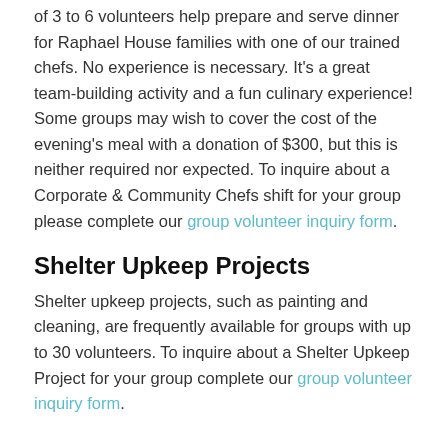of 3 to 6 volunteers help prepare and serve dinner for Raphael House families with one of our trained chefs. No experience is necessary. It's a great team-building activity and a fun culinary experience! Some groups may wish to cover the cost of the evening's meal with a donation of $300, but this is neither required nor expected. To inquire about a Corporate & Community Chefs shift for your group please complete our group volunteer inquiry form.
Shelter Upkeep Projects
Shelter upkeep projects, such as painting and cleaning, are frequently available for groups with up to 30 volunteers. To inquire about a Shelter Upkeep Project for your group complete our group volunteer inquiry form.